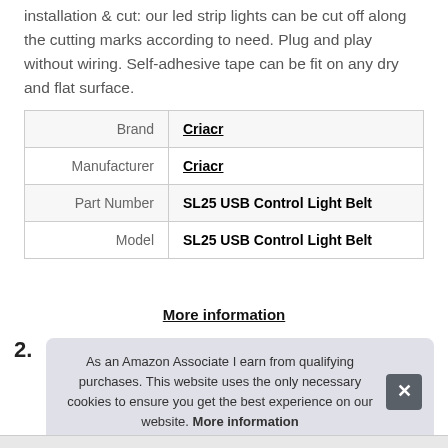installation & cut: our led strip lights can be cut off along the cutting marks according to need. Plug and play without wiring. Self-adhesive tape can be fit on any dry and flat surface.
|  |  |
| --- | --- |
| Brand | Criacr |
| Manufacturer | Criacr |
| Part Number | SL25 USB Control Light Belt |
| Model | SL25 USB Control Light Belt |
More information
As an Amazon Associate I earn from qualifying purchases. This website uses the only necessary cookies to ensure you get the best experience on our website. More information